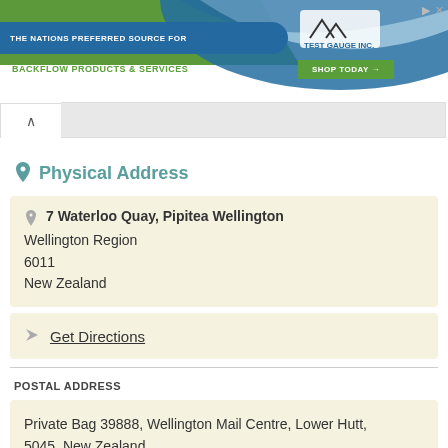[Figure (screenshot): Advertisement banner for Test Gauge Inc - The Nations Preferred Source for Backflow Products & Services with Shop Today button]
Physical Address
7 Waterloo Quay, Pipitea Wellington
Wellington Region
6011
New Zealand
Get Directions
POSTAL ADDRESS
Private Bag 39888, Wellington Mail Centre, Lower Hutt, 5045, New Zealand